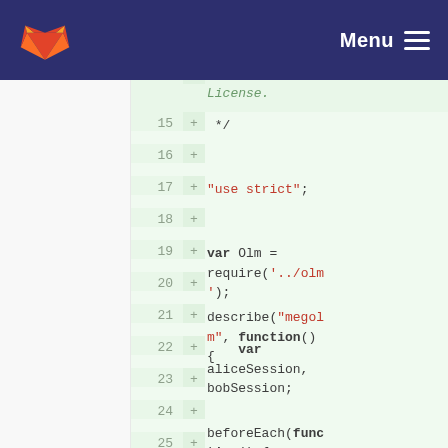GitLab — Menu
[Figure (screenshot): GitLab code diff view showing added lines 15-25 of a JavaScript file. Lines show: 15: + */, 16: +, 17: + "use strict";, 18: +, 19: + var Olm = require('../olm');, 20: +, 21: + describe("megolm", function() {, 22: + var aliceSession, bobSession;, 23: +, 24: + beforeEach(function() {, 25: +]